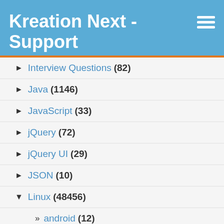Kreation Next - Support
► Interview Questions (82)
► Java (1146)
► JavaScript (33)
► jQuery (72)
► jQuery UI (29)
► JSON (10)
▼ Linux (48456)
» android (12)
» anti-spam/virus (115)
» apache (362)